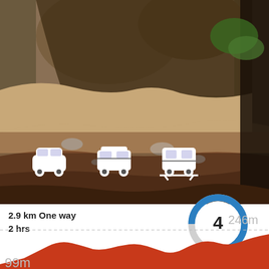[Figure (photo): Close-up photo of a rocky overhang with sandstone rocks, pebbles, and leaf litter on the ground, with a tree trunk visible on the right edge and green ferns in the upper right.]
2.9 km One way
2 hrs
[Figure (donut-chart): Hard track difficulty rating 4]
Hard track